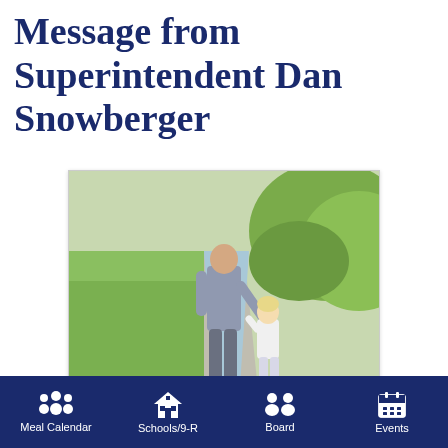Message from Superintendent Dan Snowberger
[Figure (photo): An adult and a young child holding hands while walking along a path outdoors, viewed from behind. Green grass and bushes visible on the right side.]
As you know, all of our community agencies are closely monitoring the situation involving the Coronavirus. Our school district continues to work with San Juan Basin Public Health and other local authorities to monitor the
Meal Calendar | Schools/9-R | Board | Events